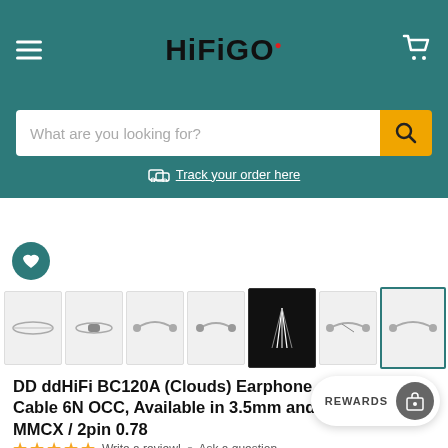HiFiGO
What are you looking for?
Track your order here
[Figure (photo): Product thumbnail images of earphone cables arranged in a horizontal strip, with one selected (teal border)]
DD ddHiFi BC120A (Clouds) Earphone Cable 6N OCC, Available in 3.5mm and MMCX / 2pin 0.78
REWARDS
Write a review! | Ask a question